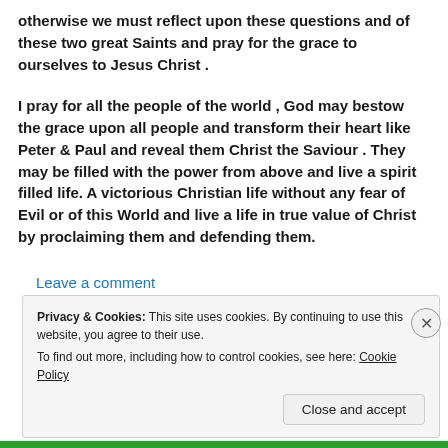otherwise we must reflect upon these questions and of these two great Saints and pray for the grace to ourselves to Jesus Christ .
I pray for all the people of the world , God may bestow the grace upon all people and transform their heart like Peter & Paul and reveal them Christ the Saviour . They may be filled with the power from above and live a spirit filled life. A victorious Christian life without any fear of Evil or of this World and live a life in true value of Christ by proclaiming them and defending them.
Leave a comment
Privacy & Cookies: This site uses cookies. By continuing to use this website, you agree to their use.
To find out more, including how to control cookies, see here: Cookie Policy